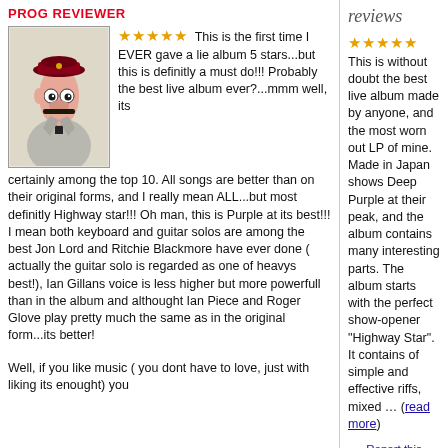PROG REVIEWER
reviews
[Figure (illustration): Cartoon muppet character dressed in military/general uniform with red cap and grey coat]
This is the first time I EVER gave a lie album 5 stars...but this is definitly a must do!!! Probably the best live album ever?...mmm well, its certainly among the top 10. All songs are better than on their original forms, and I really mean ALL...but most definitly Highway star!!! Oh man, this is Purple at its best!!! I mean both keyboard and guitar solos are among the best Jon Lord and Ritchie Blackmore have ever done ( actually the guitar solo is regarded as one of heavys best!), Ian Gillans voice is less higher but more powerfull than in the album and althought Ian Piece and Roger Glove play pretty much the same as in the original form...its better!
Well, if you like music ( you dont have to love, just with liking its enought) you
This is without doubt the best live album made by anyone, and the most worn out LP of mine. Made in Japan shows Deep Purple at their peak, and the album contains many interesting parts. The album starts with the perfect show-opener "Highway Star". It contains of simple and effective riffs, mixed ... (read more)
Report this review (#1665043) | Posted by LadyScarlet | Wednesday, December 7, 2016 | Review Permanlink